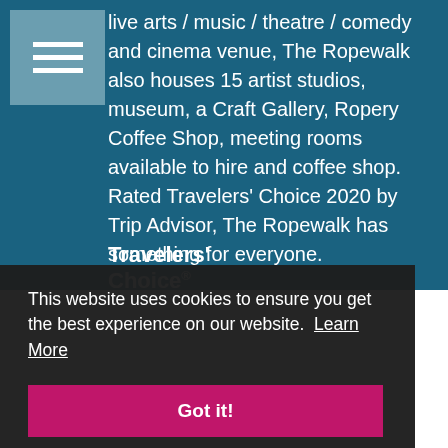[Figure (other): Hamburger/navigation menu icon with three horizontal bars on a grey-blue square background]
live arts / music / theatre / comedy and cinema venue, The Ropewalk also houses 15 artist studios, museum, a Craft Gallery, Ropery Coffee Shop, meeting rooms available to hire and coffee shop. Rated Travelers' Choice 2020 by Trip Advisor, The Ropewalk has something for everyone.
[Figure (logo): Travelers' Choice logo - text showing 'Travelers' Choice' in white bold font]
This website uses cookies to ensure you get the best experience on our website.  Learn More
Got it!